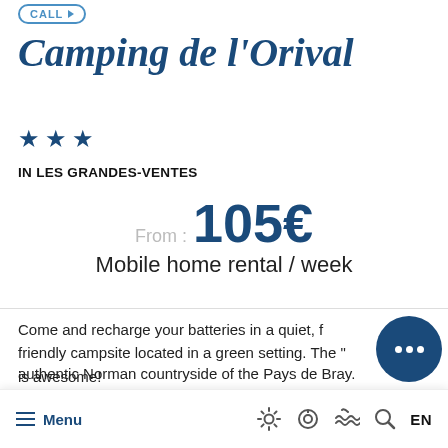Camping de l'Orival
[Figure (illustration): Three blue stars indicating 3-star rating]
IN LES GRANDES-VENTES
From : 105€
Mobile home rental / week
Come and recharge your batteries in a quiet, friendly campsite located in a green setting. The "..." is awesome!
Menu  [sun icon] [camera icon] [wave icon] [search icon]  EN
authentic Norman countryside of the Pays de Bray.